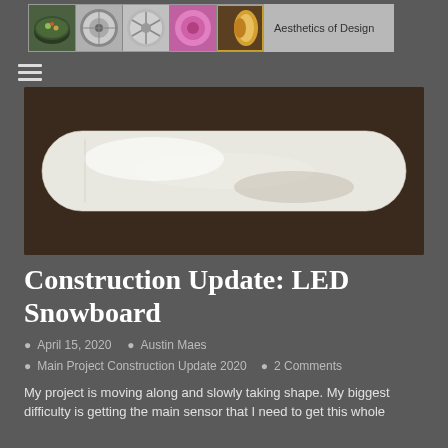Aesthetics of Design
[Figure (photo): Photo of a white/silver snowboard viewed from above against a dark brown background]
Construction Update: LED Snowboard
April 15, 2020  Austin Maes  Main Project Construction Update 2020  2 Comments
My project is moving along and slowly taking shape. My biggest difficulty is getting the main sensor that I need to get this whole